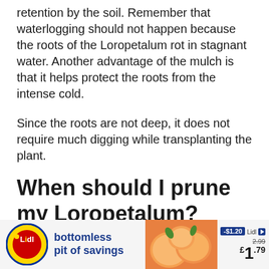retention by the soil. Remember that waterlogging should not happen because the roots of the Loropetalum rot in stagnant water. Another advantage of the mulch is that it helps protect the roots from the intense cold.
Since the roots are not deep, it does not require much digging while transplanting the plant.
When should I prune my Loropetalum?
The beauty of the Loropetalum tree is in its
[Figure (other): Lidl advertisement banner: 'bottomless pit of savings' with peaches image, showing price $1.79 (was $2.99, save $1.20)]